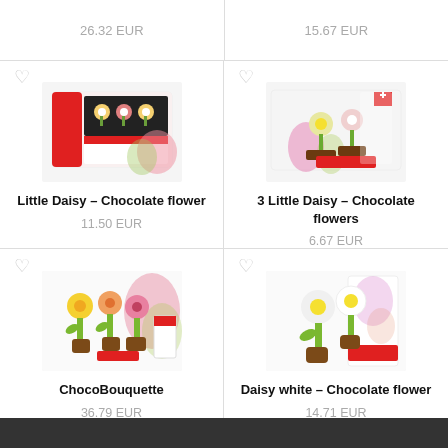26.32 EUR
15.67 EUR
[Figure (photo): Little Daisy - Chocolate flower product image: a box of chocolate flower]
Little Daisy – Chocolate flower
11.50 EUR
[Figure (photo): 3 Little Daisy - Chocolate flowers product image: three chocolate flowers on a card]
3 Little Daisy – Chocolate flowers
6.67 EUR
[Figure (photo): ChocoBouquette product image: three chocolate flower figures]
ChocoBouquette
36.79 EUR
[Figure (photo): Daisy white - Chocolate flower product image: two white daisy chocolate flowers]
Daisy white – Chocolate flower
14.71 EUR